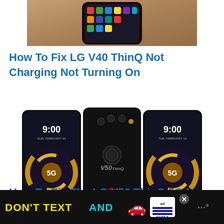[Figure (photo): Top portion of a smartphone (LG V40 ThinQ) lying on a wooden surface, showing the screen with app icons, viewed from above.]
How To Fix LG V40 ThinQ Not Charging Not Turning On
[Figure (photo): Three views of the LG V50 ThinQ 5G smartphone: front view showing 9:00 time and 5G golden swirl wallpaper, rear view showing cameras and fingerprint sensor, and right-side front view also showing 9:00 and 5G wallpaper.]
How To Fix The LG V50 ThinQ 5G N...
[Figure (other): Advertisement banner: DON'T TEXT AND [car emoji] with NHTSA logo and ad badge.]